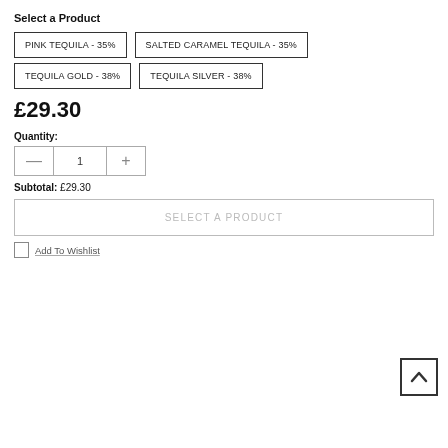Select a Product
PINK TEQUILA - 35%
SALTED CARAMEL TEQUILA - 35%
TEQUILA GOLD - 38%
TEQUILA SILVER - 38%
£29.30
Quantity:
- 1 +
Subtotal:  £29.30
SELECT A PRODUCT
Add To Wishlist